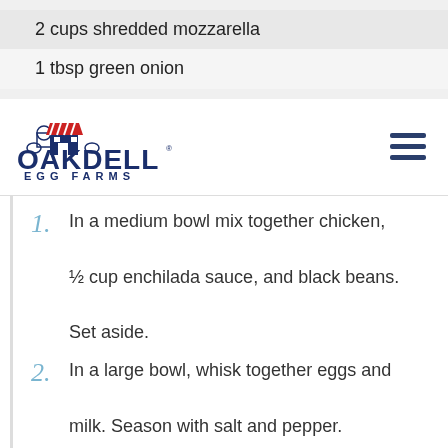2 cups shredded mozzarella
1 tbsp green onion
[Figure (logo): Oakdell Egg Farms logo with barn illustration and red/blue text]
1. In a medium bowl mix together chicken, ½ cup enchilada sauce, and black beans. Set aside.
2. In a large bowl, whisk together eggs and milk. Season with salt and pepper.